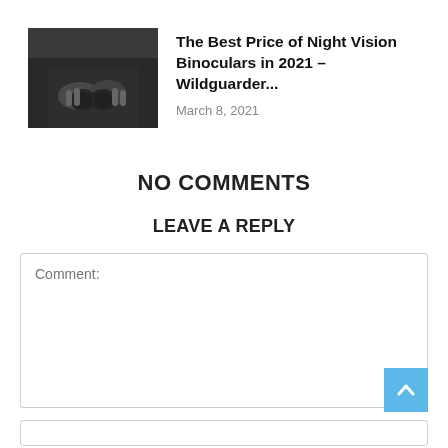[Figure (photo): Thumbnail photo of person holding binoculars in dark clothing]
The Best Price of Night Vision Binoculars in 2021 – Wildguarder...
March 8, 2021
NO COMMENTS
LEAVE A REPLY
Comment: